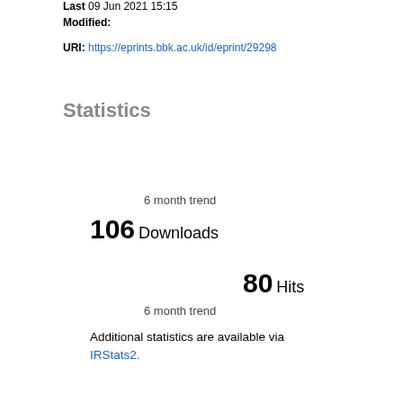Last 09 Jun 2021 15:15 Modified:
URI: https://eprints.bbk.ac.uk/id/eprint/29298
Statistics
6 month trend
106 Downloads
80 Hits
6 month trend
Additional statistics are available via IRStats2.